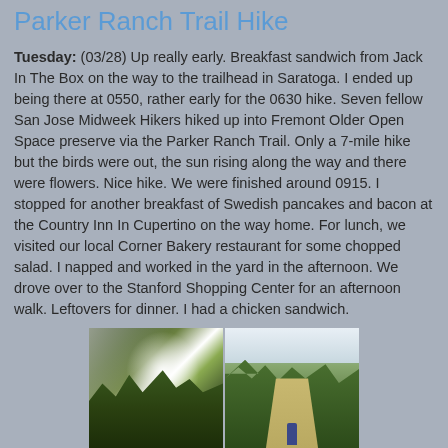Parker Ranch Trail Hike
Tuesday: (03/28) Up really early. Breakfast sandwich from Jack In The Box on the way to the trailhead in Saratoga. I ended up being there at 0550, rather early for the 0630 hike. Seven fellow San Jose Midweek Hikers hiked up into Fremont Older Open Space preserve via the Parker Ranch Trail. Only a 7-mile hike but the birds were out, the sun rising along the way and there were flowers. Nice hike. We were finished around 0915. I stopped for another breakfast of Swedish pancakes and bacon at the Country Inn In Cupertino on the way home. For lunch, we visited our local Corner Bakery restaurant for some chopped salad. I napped and worked in the yard in the afternoon. We drove over to the Stanford Shopping Center for an afternoon walk. Leftovers for dinner. I had a chicken sandwich.
[Figure (photo): Two trail photos side by side: left photo shows sunlight bursting through tree canopy on the Parker Ranch Trail; right photo shows a hiker on a dirt trail surrounded by trees.]